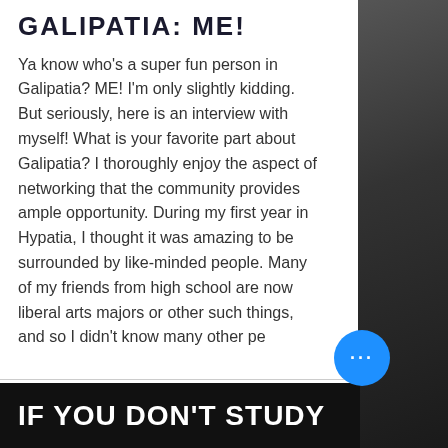GALIPATIA: ME!
Ya know who's a super fun person in Galipatia? ME! I'm only slightly kidding. But seriously, here is an interview with myself! What is your favorite part about Galipatia? I thoroughly enjoy the aspect of networking that the community provides ample opportunity. During my first year in Hypatia, I thought it was amazing to be surrounded by like-minded people. Many of my friends from high school are now liberal arts majors or other such things, and so I didn't know many other pe
IF YOU DON'T STUDY